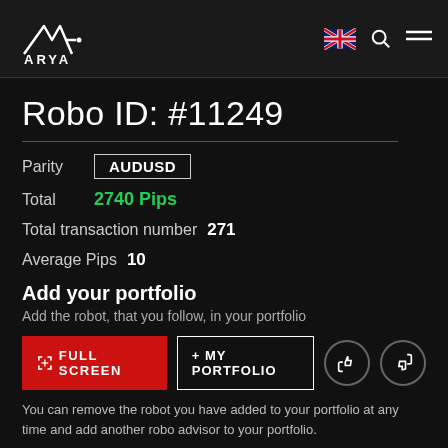ARYA
Robo ID: #11249
Parity  AUDUSD
Total  2740 Pips
Total transaction number  271
Average Pips  10
Add your portfolio
Add the robot, that you follow, in your portfolio
FULL SCREEN  MY PORTFOLIO
You can remove the robot you have added to your portfolio at any time and add another robo advisor to your portfolio.